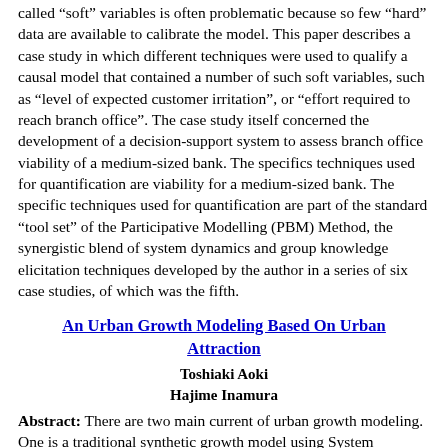called “soft” variables is often problematic because so few “hard” data are available to calibrate the model. This paper describes a case study in which different techniques were used to qualify a causal model that contained a number of such soft variables, such as “level of expected customer irritation”, or “effort required to reach branch office”. The case study itself concerned the development of a decision-support system to assess branch office viability of a medium-sized bank. The specifics techniques used for quantification are viability for a medium-sized bank. The specific techniques used for quantification are part of the standard “tool set” of the Participative Modelling (PBM) Method, the synergistic blend of system dynamics and group knowledge elicitation techniques developed by the author in a series of six case studies, of which was the fifth.
An Urban Growth Modeling Based On Urban Attraction
Toshiaki Aoki
Hajime Inamura
Abstract: There are two main current of urban growth modeling. One is a traditional synthetic growth model using System Dynamics(SD). The other is a regional science model which can determine the location of industry and residence based on micro economics. Although this study basically uses the framework of SD, the principles of micro economics and an aggregated behavior